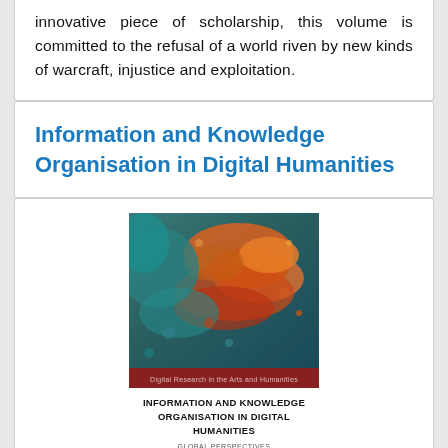innovative piece of scholarship, this volume is committed to the refusal of a world riven by new kinds of warcraft, injustice and exploitation.
Information and Knowledge Organisation in Digital Humanities
[Figure (photo): Book cover of 'Information and Knowledge Organisation in Digital Humanities: Global Perspectives' from the Digital Research in the Arts and Humanities series. The cover shows an abstract colorful texture in teal and orange/red tones, with the title in bold black text on white below and a red banner strip mid-cover.]